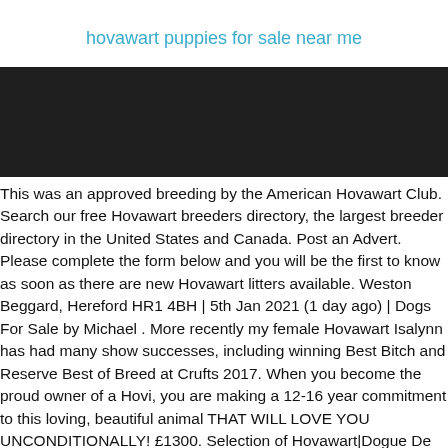hovawart puppies for sale near me
[Figure (photo): Dark/black banner image, likely a header image for a website about Hovawart puppies]
This was an approved breeding by the American Hovawart Club. Search our free Hovawart breeders directory, the largest breeder directory in the United States and Canada. Post an Advert. Please complete the form below and you will be the first to know as soon as there are new Hovawart litters available. Weston Beggard, Hereford HR1 4BH | 5th Jan 2021 (1 day ago) | Dogs For Sale by Michael . More recently my female Hovawart Isalynn has had many show successes, including winning Best Bitch and Reserve Best of Breed at Crufts 2017. When you become the proud owner of a Hovi, you are making a 12-16 year commitment to this loving, beautiful animal THAT WILL LOVE YOU UNCONDITIONALLY! £1300. Selection of Hovawart|Dogue De Bordeaux puppies needing good homes and surrounding areas to find your next furry puppy. Show 20, 50, 100 on page Show 20, 50, 100 on page £1,000 Gorgeous Stunning Litter Of Blue Staffys Available Urgent Ad. With thousands of Hovawart